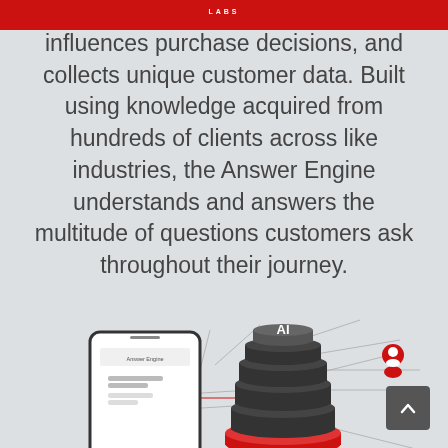LABS
influences purchase decisions, and collects unique customer data. Built using knowledge acquired from hundreds of clients across like industries, the Answer Engine understands and answers the multitude of questions customers ask throughout their journey.
[Figure (infographic): Infographic showing a smartphone displaying 'Answer Engine' on screen connected by circuit-like lines to a central stacked AI database server icon on a red platform, with user icons on the right side.]
[Figure (other): Dark grey back-to-top button with upward chevron arrow in bottom right corner.]